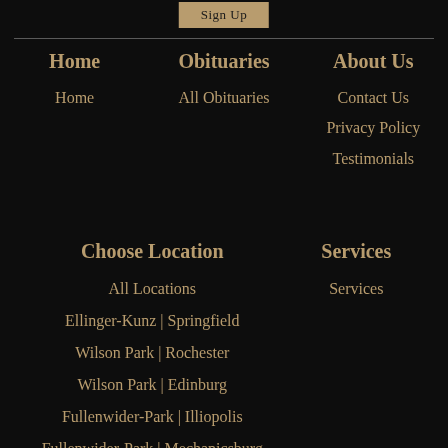Sign Up
Home
Home
Obituaries
All Obituaries
About Us
Contact Us
Privacy Policy
Testimonials
Choose Location
All Locations
Ellinger-Kunz | Springfield
Wilson Park | Rochester
Wilson Park | Edinburg
Fullenwider-Park | Illiopolis
Fullenwider-Park | Mechanicsburg
Springfield Crematory
Services
Services